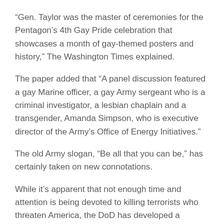“Gen. Taylor was the master of ceremonies for the Pentagon’s 4th Gay Pride celebration that showcases a month of gay-themed posters and history,” The Washington Times explained.
The paper added that “A panel discussion featured a gay Marine officer, a gay Army sergeant who is a criminal investigator, a lesbian chaplain and a transgender, Amanda Simpson, who is executive director of the Army’s Office of Energy Initiatives.”
The old Army slogan, “Be all that you can be,” has certainly taken on new connotations.
While it’s apparent that not enough time and attention is being devoted to killing terrorists who threaten America, the DoD has developed a sophisticated PowerPoint presentation on LGBT progress in the Armed Forces.
Developed by the Defense Equal Opportunity Management Institute at Patrick Air Force Base in Florida, the presentation highlights the June 1969 riots at the seedy, Mafia-run Stonewall